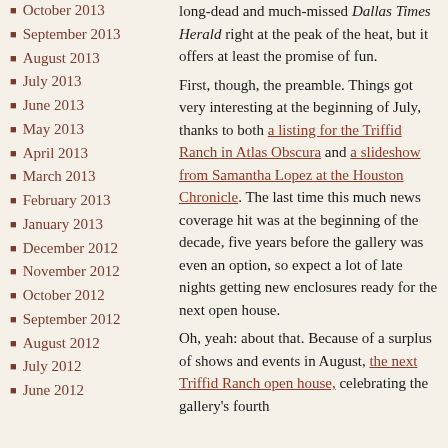October 2013
September 2013
August 2013
July 2013
June 2013
May 2013
April 2013
March 2013
February 2013
January 2013
December 2012
November 2012
October 2012
September 2012
August 2012
July 2012
June 2012
long-dead and much-missed Dallas Times Herald right at the peak of the heat, but it offers at least the promise of fun.
First, though, the preamble. Things got very interesting at the beginning of July, thanks to both a listing for the Triffid Ranch in Atlas Obscura and a slideshow from Samantha Lopez at the Houston Chronicle. The last time this much news coverage hit was at the beginning of the decade, five years before the gallery was even an option, so expect a lot of late nights getting new enclosures ready for the next open house.
Oh, yeah: about that. Because of a surplus of shows and events in August, the next Triffid Ranch open house, celebrating the gallery's fourth